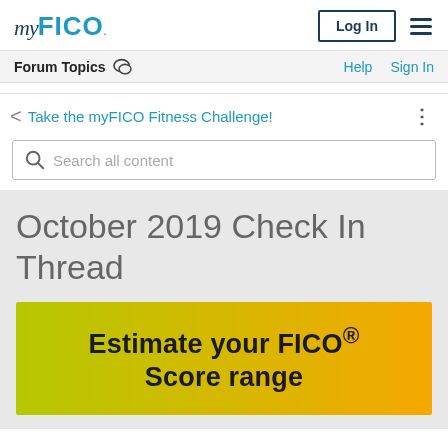myFICO — Log In
Forum Topics
Take the myFICO Fitness Challenge!
Search all content
October 2019 Check In Thread
Estimate your FICO® Score range